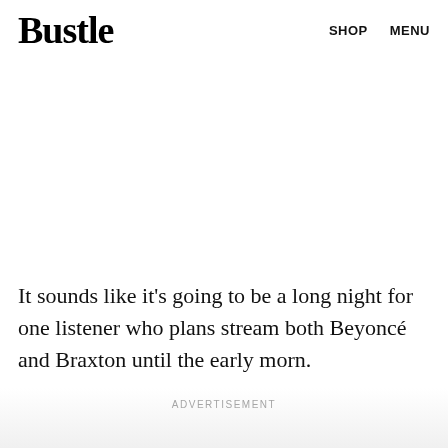3. #blessed
Bustle
SHOP   MENU
It sounds like it's going to be a long night for one listener who plans stream both Beyoncé and Braxton until the early morn.
ADVERTISEMENT